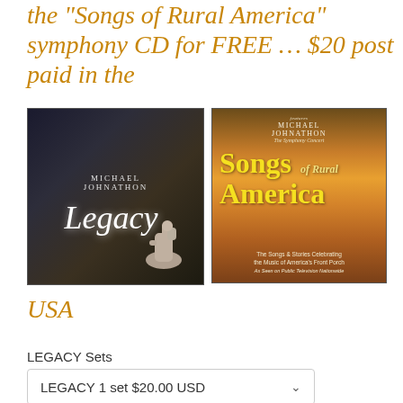the "Songs of Rural America" symphony CD for FREE ... $20 post paid in the
[Figure (photo): Two CD album covers side by side: left is Michael Johnathon 'Legacy' showing a thumbs-up sculpture at a piano mixing board; right is Michael Johnathon 'Songs of Rural America: The Symphony Concert' with golden sunset background and bold yellow/white text.]
USA
LEGACY Sets
LEGACY 1 set $20.00 USD